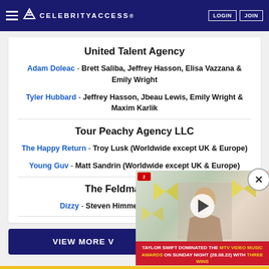CELEBRITY ACCESS
United Talent Agency
Adam Doleac - Brett Saliba, Jeffrey Hasson, Elisa Vazzana & Emily Wright
Tyler Hubbard - Jeffrey Hasson, Jbeau Lewis, Emily Wright & Maxim Karlik
Tour Peachy Agency LLC
The Happy Return - Troy Lusk (Worldwide except UK & Europe)
Young Guv - Matt Sandrin (Worldwide except UK & Europe)
The Feldman Agency
Dizzy - Steven Himmelfarb & Tanya Daniel
VIEW MORE V...
[Figure (screenshot): Video thumbnail showing a person with decorative background, with play button overlay. Caption reads: TAYLOR SWIFT DOMINATED THE MTV VIDEO MUSIC AWARDS ON SUNDAY NIGHT (28.08.22) WITH THREE WINS]